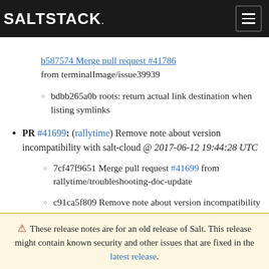SALTSTACK.
bdbb265a0b roots: return actual link destination when listing symlinks
PR #41699: (rallytime) Remove note about version incompatibility with salt-cloud @ 2017-06-12 19:44:28 UTC
7cf47f9651 Merge pull request #41699 from rallytime/troubleshooting-doc-update
c91ca5f809 Remove note about version incompatibility with salt-cloud
⚠ These release notes are for an old release of Salt. This release might contain known security and other issues that are fixed in the latest release.